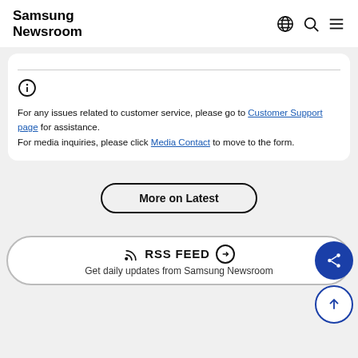Samsung Newsroom
For any issues related to customer service, please go to Customer Support page for assistance. For media inquiries, please click Media Contact to move to the form.
More on Latest
RSS FEED — Get daily updates from Samsung Newsroom